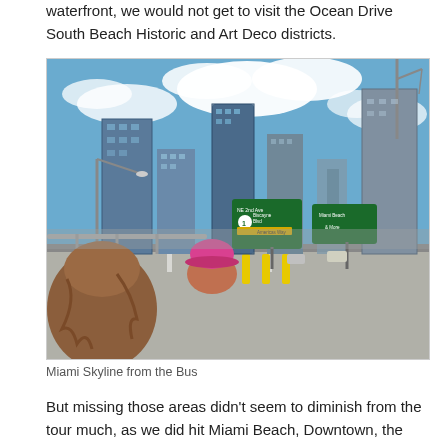waterfront, we would not get to visit the Ocean Drive South Beach Historic and Art Deco districts.
[Figure (photo): Miami Skyline viewed from an open-top bus on a highway. In the foreground, a person with long brown hair and someone in a pink hat lean over the railing of the bus. Green highway signs read 'NE 2nd Ave, Biscayne Blvd' and 'Miami Beach'. Tall skyscrapers and a construction crane dominate the skyline under a blue sky with white clouds.]
Miami Skyline from the Bus
But missing those areas didn't seem to diminish from the tour much, as we did hit Miami Beach, Downtown, the Financial District, Coconut Grove, Coral